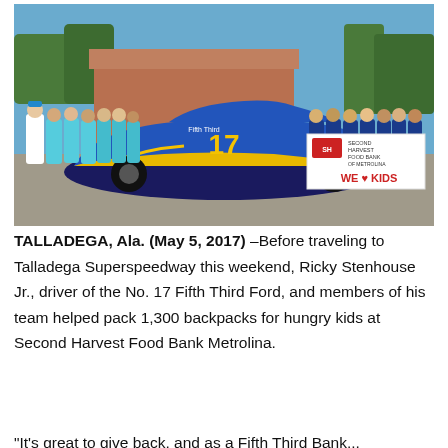[Figure (photo): Group photo of people in light blue shirts and others standing in front of NASCAR car #17 Fifth Third Bank sponsored race car (blue and yellow), with a Second Harvest Food Bank Metrolina 'WE LOVE KIDS' banner on the right side, taken outdoors on a sunny day.]
TALLADEGA, Ala. (May 5, 2017) –Before traveling to Talladega Superspeedway this weekend, Ricky Stenhouse Jr., driver of the No. 17 Fifth Third Ford, and members of his team helped pack 1,300 backpacks for hungry kids at Second Harvest Food Bank Metrolina.
"It's great to give back, and as a Fifth Third Bank...